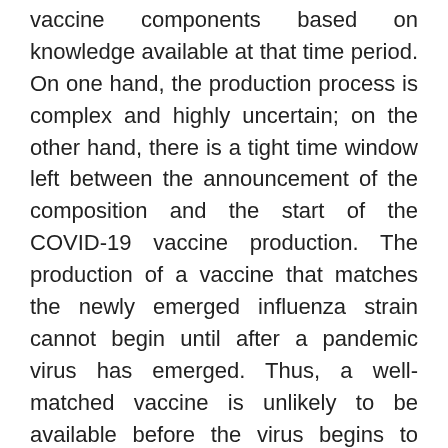vaccine components based on knowledge available at that time period. On one hand, the production process is complex and highly uncertain; on the other hand, there is a tight time window left between the announcement of the composition and the start of the COVID-19 vaccine production. The production of a vaccine that matches the newly emerged influenza strain cannot begin until after a pandemic virus has emerged. Thus, a well-matched vaccine is unlikely to be available before the virus begins to spread which delayed the product design phase in the supply chain. In addition, makers of COVID-19 vaccines need everything to go right as they scale up production to hundreds of millions of doses and